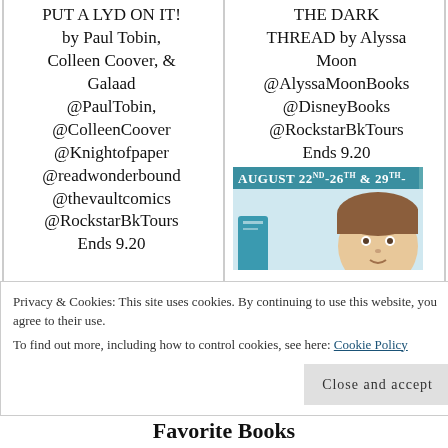PUT A LYD ON IT! by Paul Tobin, Colleen Coover, & Galaad @PaulTobin, @ColleenCoover @Knightofpaper @readwonderbound @thevaultcomics @RockstarBkTours Ends 9.20
THE DARK THREAD by Alyssa Moon @AlyssaMoonBooks @DisneyBooks @RockstarBkTours Ends 9.20
[Figure (illustration): Book tour banner image showing 'AUGUST 22ND-26TH & 29TH-' text on teal background with animated character face]
Privacy & Cookies: This site uses cookies. By continuing to use this website, you agree to their use. To find out more, including how to control cookies, see here: Cookie Policy
Close and accept
Favorite Books